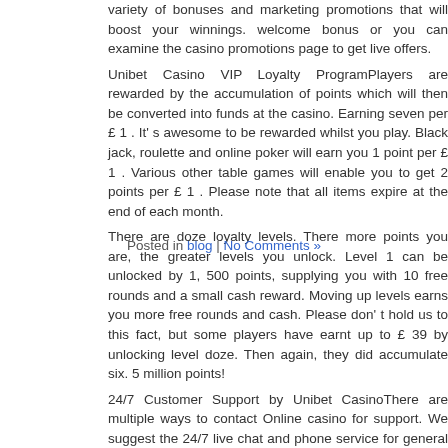variety of bonuses and marketing promotions that will boost your winnings. welcome bonus or you can examine the casino promotions page to get live offers. Unibet Casino VIP Loyalty ProgramPlayers are rewarded by the accumulation of points which will then be converted into funds at the casino. Earning seven per £ 1 . It' s awesome to be rewarded whilst you play. Black jack, roulette and online poker will earn you 1 point per £ 1 . Various other table games will enable you to get 2 points per £ 1 . Please note that all items expire at the end of each month. There are doze loyalty levels. There more points you are, the greater levels you unlock. Level 1 can be unlocked by 1, 500 points, supplying you with 10 free rounds and a small cash reward. Moving up levels earns you more free rounds and cash. Please don' t hold us to this fact, but some players have earnt up to £ 39 by unlocking level doze. Then again, they did accumulate six. 5 million points! 24/7 Customer Support by Unibet CasinoThere are multiple ways to contact Online casino for support. We suggest the 24/7 live chat and phone service for general help, the FAQ section is great and there is a large Unibet Community too. Other British players will be analysing current promotions or troubleshooting problems.
Posted in blog | No Comments »